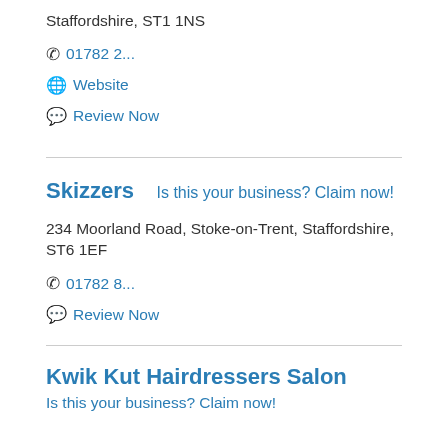Staffordshire, ST1 1NS
01782 2...
Website
Review Now
Skizzers
Is this your business? Claim now!
234 Moorland Road, Stoke-on-Trent, Staffordshire, ST6 1EF
01782 8...
Review Now
Kwik Kut Hairdressers Salon
Is this your business? Claim now!